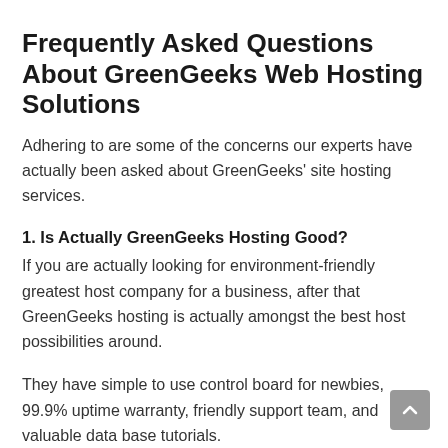Frequently Asked Questions About GreenGeeks Web Hosting Solutions
Adhering to are some of the concerns our experts have actually been asked about GreenGeeks' site hosting services.
1. Is Actually GreenGeeks Hosting Good?
If you are actually looking for environment-friendly greatest host company for a business, after that GreenGeeks hosting is actually amongst the best host possibilities around.
They have simple to use control board for newbies, 99.9% uptime warranty, friendly support team, and valuable data base tutorials.